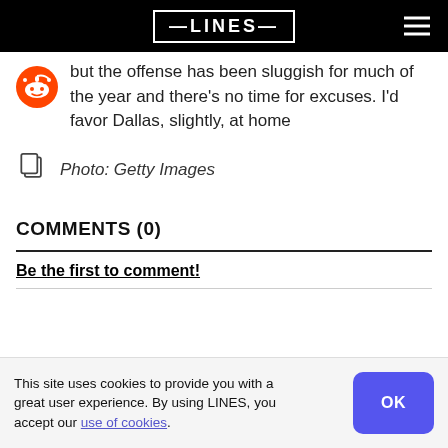LINES
but the offense has been sluggish for much of the year and there's no time for excuses. I'd favor Dallas, slightly, at home
Photo: Getty Images
COMMENTS (0)
Be the first to comment!
This site uses cookies to provide you with a great user experience. By using LINES, you accept our use of cookies.